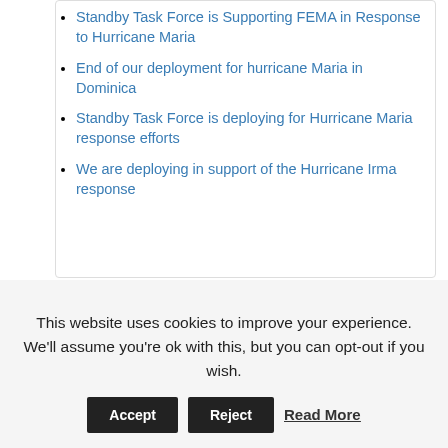Standby Task Force is Supporting FEMA in Response to Hurricane Maria
End of our deployment for hurricane Maria in Dominica
Standby Task Force is deploying for Hurricane Maria response efforts
We are deploying in support of the Hurricane Irma response
Categories
Select Category
This website uses cookies to improve your experience. We'll assume you're ok with this, but you can opt-out if you wish.
Accept   Reject   Read More